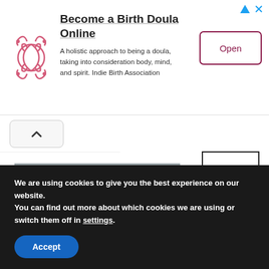[Figure (screenshot): Advertisement banner: pink decorative logo on left, heading 'Become a Birth Doula Online', description text, and 'Open' button on right]
[Figure (screenshot): Soccer/football club badge with hexagon shape, soccer ball on top, red text, stars, on grey background]
[Figure (screenshot): Hamburger menu icon (three horizontal lines) in a bordered box, top right area]
We are using cookies to give you the best experience on our website.
You can find out more about which cookies we are using or switch them off in settings.